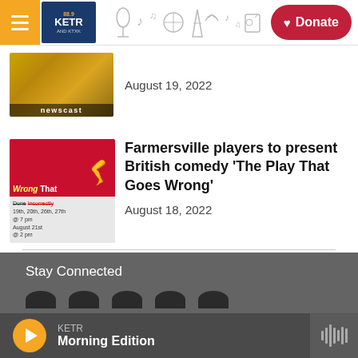KETR 88.9 radio — header navigation with hamburger menu, KETR logo, decorative radio art, and Donate button
[Figure (screenshot): Newscast article thumbnail with gold/brown background and 'newscast' label]
August 19, 2022
[Figure (photo): Promotional poster for 'The Play That Goes Wrong' showing title text with red curtain and a person's legs in jeans]
Farmersville players to present British comedy 'The Play That Goes Wrong'
August 18, 2022
Stay Connected
KETR Morning Edition — player bar with play button, station name KETR, and program title Morning Edition